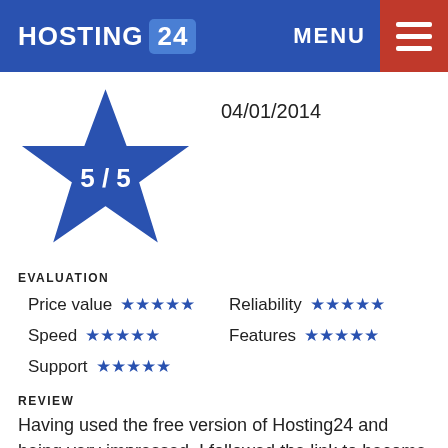HOSTING 24   MENU
[Figure (other): Large blue star with '5 / 5' rating text inside]
04/01/2014
EVALUATION
Price value ★★★★★  Reliability ★★★★★  Speed ★★★★★  Features ★★★★★  Support ★★★★★
REVIEW
Having used the free version of Hosting24 and being very impressed, I followed the link to become a fully paying subscriber; I'm very glad I I did. Everything from Domain management, to FTP, to CPanel, to Uptime is nothing short of superb! I love